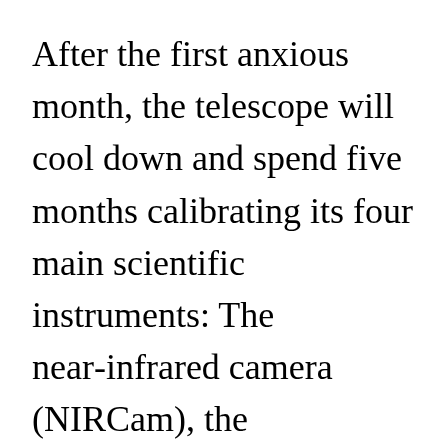After the first anxious month, the telescope will cool down and spend five months calibrating its four main scientific instruments: The near-infrared camera (NIRCam), the near-infrared spectrograph (NIRSpec), the mid-infrared instrument (MIRI) and the fine guidance system/near-infrared image and slitless spectrograph